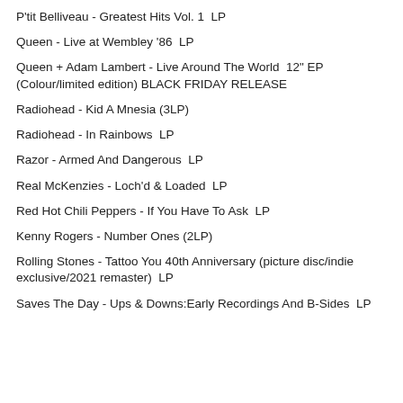P'tit Belliveau - Greatest Hits Vol. 1  LP
Queen - Live at Wembley '86  LP
Queen + Adam Lambert - Live Around The World  12" EP (Colour/limited edition) BLACK FRIDAY RELEASE
Radiohead - Kid A Mnesia (3LP)
Radiohead - In Rainbows  LP
Razor - Armed And Dangerous  LP
Real McKenzies - Loch'd & Loaded  LP
Red Hot Chili Peppers - If You Have To Ask  LP
Kenny Rogers - Number Ones (2LP)
Rolling Stones - Tattoo You 40th Anniversary (picture disc/indie exclusive/2021 remaster)  LP
Saves The Day - Ups & Downs:Early Recordings And B-Sides  LP